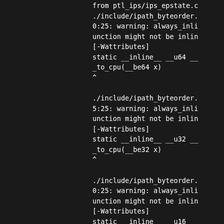[Figure (screenshot): Terminal/compiler output showing warning messages about always_inline function might not be inlined [-Wattributes] for ipath_byteorder header file, with static __inline__ declarations for __u64, __u32, and __u16 be_to_cpu functions.]